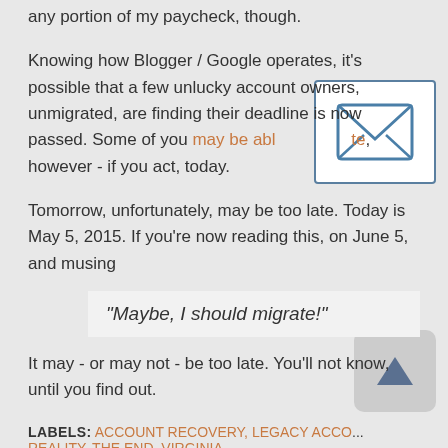any portion of my paycheck, though.
Knowing how Blogger / Google operates, it's possible that a few unlucky account owners, unmigrated, are finding their deadline is now passed. Some of you may be able to migrate, however - if you act, today.
[Figure (illustration): Email envelope icon — white background with blue border and envelope/letter graphic]
Tomorrow, unfortunately, may be too late. Today is May 5, 2015. If you're now reading this, on June 5, and musing
“Maybe, I should migrate!”
It may - or may not - be too late. You'll not know, until you find out.
LABELS: ACCOUNT RECOVERY, LEGACY ACCO... REALITY, THE END, VIRGINIA
[Figure (illustration): Scroll-to-top button icon — grey rounded square with upward pointing triangle/arrow]